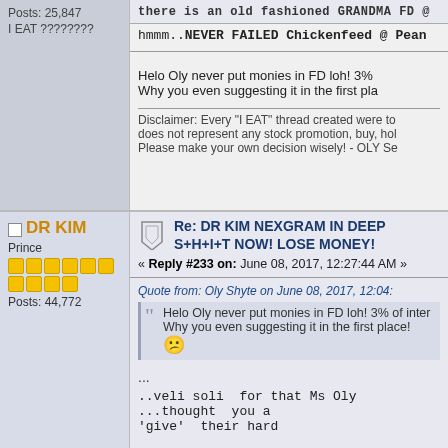Posts: 25,847
I EAT ????????
there is an old fashioned GRANDMA FD @
hmmm..NEVER FAILED Chickenfeed @ Pean
Helo Oly never put monies in FD loh! 3% Why you even suggesting it in the first pla
Disclaimer: Every "I EAT" thread created were to does not represent any stock promotion, buy, hol Please make your own decision wisely! - OLY Se
DR KIM
Prince
Posts: 44,772
Re: DR KIM NEXGRAM IN DEEP S+H+I+T NOW! LOSE MONEY!
« Reply #233 on: June 08, 2017, 12:27:44 AM »
Quote from: Oly Shyte on June 08, 2017, 12:04:
Helo Oly never put monies in FD loh! 3% of inter Why you even suggesting it in the first place!
...
..veli soli  for that Ms Oly ...thought  you a 'give'  their hard